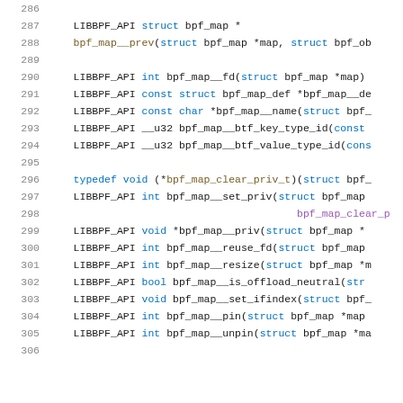Code listing: libbpf API bpf_map functions, lines 286-306
286  (empty)
287      LIBBPF_API struct bpf_map *
288      bpf_map__prev(struct bpf_map *map, struct bpf_ob
289  (empty)
290      LIBBPF_API int bpf_map__fd(struct bpf_map *map)
291      LIBBPF_API const struct bpf_map_def *bpf_map__de
292      LIBBPF_API const char *bpf_map__name(struct bpf_
293      LIBBPF_API __u32 bpf_map__btf_key_type_id(const
294      LIBBPF_API __u32 bpf_map__btf_value_type_id(cons
295  (empty)
296      typedef void (*bpf_map_clear_priv_t)(struct bpf_
297      LIBBPF_API int bpf_map__set_priv(struct bpf_map
298                                          bpf_map_clear_p
299      LIBBPF_API void *bpf_map__priv(struct bpf_map *
300      LIBBPF_API int bpf_map__reuse_fd(struct bpf_map
301      LIBBPF_API int bpf_map__resize(struct bpf_map *m
302      LIBBPF_API bool bpf_map__is_offload_neutral(str
303      LIBBPF_API void bpf_map__set_ifindex(struct bpf_
304      LIBBPF_API int bpf_map__pin(struct bpf_map *map
305      LIBBPF_API int bpf_map__unpin(struct bpf_map *ma
306  (empty)